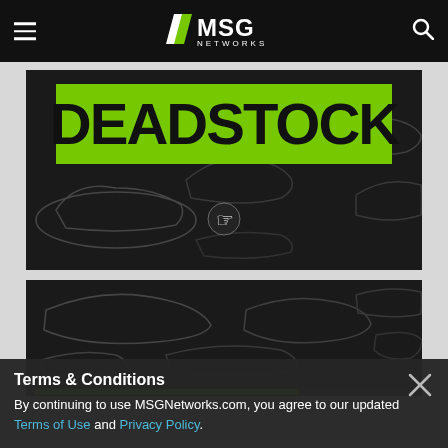MSG Networks navigation bar with logo, hamburger menu, and search
[Figure (screenshot): Video thumbnail showing DEADSTOCK show artwork: large black background with shoe outlines/sketches and a green banner with 'DEADSTOCK' in bold black text. A mouse cursor pointer is visible in the center.]
[Figure (screenshot): Second video thumbnail showing black background with shoe outline sketches, with a green progress bar at the bottom of the frame.]
Terms & Conditions
By continuing to use MSGNetworks.com, you agree to our updated Terms of Use and Privacy Policy.